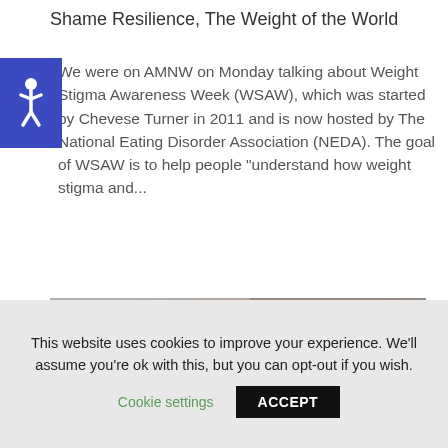Shame Resilience, The Weight of the World
We were on AMNW on Monday talking about Weight Stigma Awareness Week (WSAW), which was started by Chevese Turner in 2011 and is now hosted by The National Eating Disorder Association (NEDA). The goal of WSAW is to help people “understand how weight stigma and...
[Figure (photo): A blurry close-up photograph showing fabric with a floral pattern on the right side and a neutral gray background on the left.]
This website uses cookies to improve your experience. We'll assume you're ok with this, but you can opt-out if you wish.
Cookie settings    ACCEPT